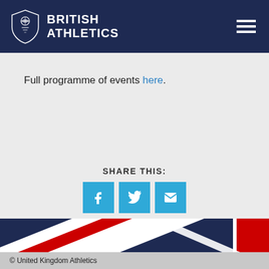British Athletics
Full programme of events here.
SHARE THIS:
[Figure (other): Social share buttons: Facebook, Twitter, Email (blue square icons with white icons)]
[Figure (illustration): Union Jack diagonal stripe pattern banner in navy, red, and white]
© United Kingdom Athletics